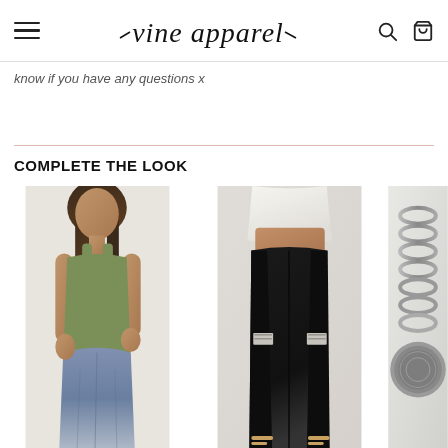vine apparel
know if you have any questions x
COMPLETE THE LOOK
[Figure (photo): Woman wearing a green tank top with a denim skirt]
[Figure (photo): Woman wearing black ripped skinny jeans with white top]
[Figure (photo): Silver chain jewelry and accessories]